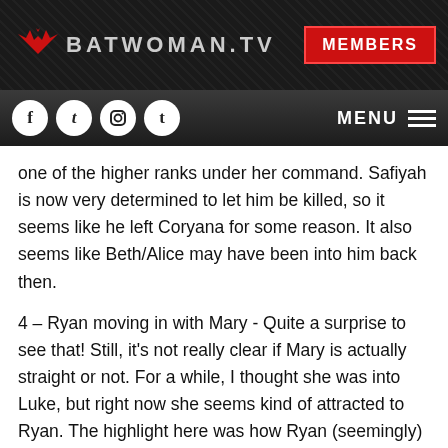BATWOMAN.TV | MEMBERS
f t instagram tumblr | MENU
one of the higher ranks under her command. Safiyah is now very determined to let him be killed, so it seems like he left Coryana for some reason. It also seems like Beth/Alice may have been into him back then.
4 – Ryan moving in with Mary - Quite a surprise to see that! Still, it's not really clear if Mary is actually straight or not. For a while, I thought she was into Luke, but right now she seems kind of attracted to Ryan. The highlight here was how Ryan (seemingly) found Mary's sex toy box ;-). "Uh, I think I am not supposed to see this!" - I wonder how this will be developed over the